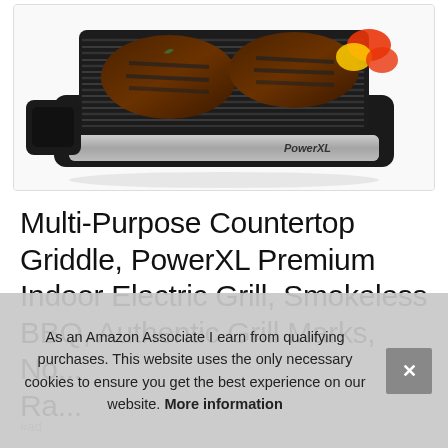[Figure (photo): PowerXL Multi-Purpose Countertop Griddle with steaks and peppers on the grill surface, silver and black body]
Multi-Purpose Countertop Griddle, PowerXL Premium Indoor Electric Grill, Smokeless BBQ, Authentic Grill Marks, No... Ra...
As an Amazon Associate I earn from qualifying purchases. This website uses the only necessary cookies to ensure you get the best experience on our website. More information
#ad